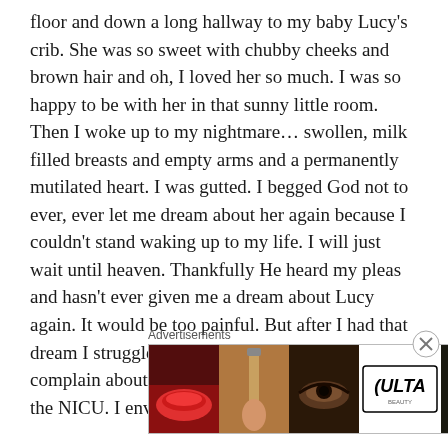floor and down a long hallway to my baby Lucy's crib. She was so sweet with chubby cheeks and brown hair and oh, I loved her so much. I was so happy to be with her in that sunny little room. Then I woke up to my nightmare… swollen, milk filled breasts and empty arms and a permanently mutilated heart. I was gutted. I begged God not to ever, ever let me dream about her again because I couldn't stand waking up to my life. I will just wait until heaven. Thankfully He heard my pleas and hasn't ever given me a dream about Lucy again. It would be too painful. But after I had that dream I struggled any time I heard a NICU mom complain about her living baby who was still in the NICU. I envied her. Now I get to be one of
Advertisements
[Figure (other): Ulta Beauty advertisement banner showing cosmetic product images (lips with red lipstick, makeup brush, eye with eyeshadow, Ulta logo, eye with dark makeup), and SHOP NOW text on right]